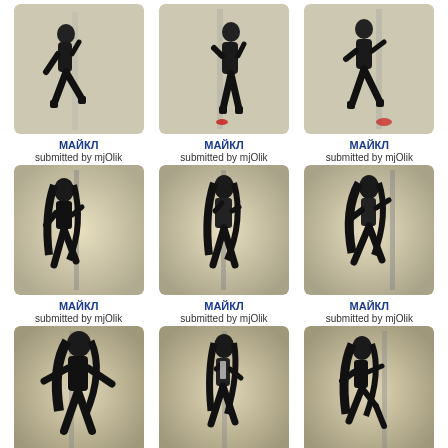[Figure (photo): Person in black suit leaning/dancing near a pole, black and white/sepia photo]
МАЙКЛ
submitted by mjOlik
[Figure (photo): Person in black suit standing near a pole, black and white/sepia photo]
МАЙКЛ
submitted by mjOlik
[Figure (photo): Person in black suit walking near a pole, black and white/sepia photo]
МАЙКЛ
submitted by mjOlik
[Figure (photo): Person with long hair in black clothing near a pole, sepia photo]
МАЙКЛ
submitted by mjOlik
[Figure (photo): Person with long hair in black clothing near a pole, sepia photo]
МАЙКЛ
submitted by mjOlik
[Figure (photo): Person with long hair in black clothing walking near a pole, sepia photo]
МАЙКЛ
submitted by mjOlik
[Figure (photo): Person with long hair in black coat spread arms near a pole, sepia photo]
МАЙКЛ
submitted by mjOlik
[Figure (photo): Person with long hair in black jacket holding pole, sepia photo]
МАЙКЛ
submitted by mjOlik
[Figure (photo): Person with long hair in black coat by a pole, sepia photo]
МАЙКЛ
submitted by mjOlik
[Figure (photo): Partial photo at bottom row 1, sepia]
[Figure (photo): Partial photo at bottom row 2, sepia]
[Figure (photo): Partial photo at bottom row 3, sepia]